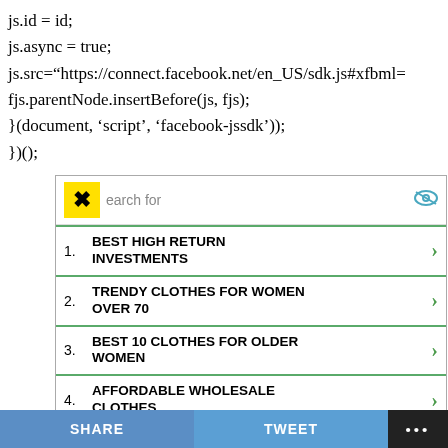js.id = id;
js.async = true;
js.src="https://connect.facebook.net/en_US/sdk.js#xfbml=
fjs.parentNode.insertBefore(js, fjs);
}(document, ‘script’, ‘facebook-jssdk’));
})();
[Figure (screenshot): An advertisement widget showing a yellow X close button, a search bar placeholder, and 5 numbered list items: 1. BEST HIGH RETURN INVESTMENTS, 2. TRENDY CLOTHES FOR WOMEN OVER 70, 3. BEST 10 CLOTHES FOR OLDER WOMEN, 4. AFFORDABLE WHOLESALE CLOTHES, 5. BEST TRAVEL PANTS WOMEN'S. Each item has a green right arrow. Footer shows 'Ad | Business Focus'.]
SHARE   TWEET   ...